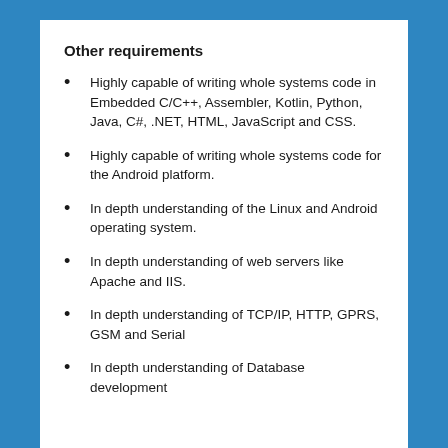Other requirements
Highly capable of writing whole systems code in Embedded C/C++, Assembler, Kotlin, Python, Java, C#, .NET, HTML, JavaScript and CSS.
Highly capable of writing whole systems code for the Android platform.
In depth understanding of the Linux and Android operating system.
In depth understanding of web servers like Apache and IIS.
In depth understanding of TCP/IP, HTTP, GPRS, GSM and Serial
In depth understanding of Database development